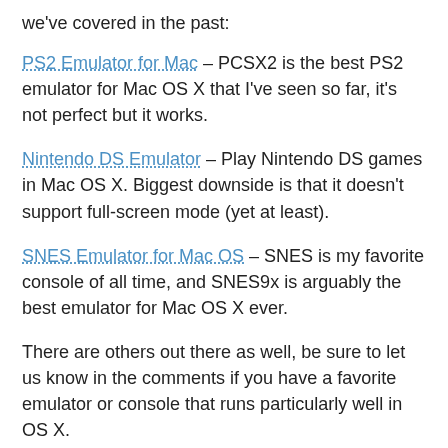we've covered in the past:
PS2 Emulator for Mac – PCSX2 is the best PS2 emulator for Mac OS X that I've seen so far, it's not perfect but it works.
Nintendo DS Emulator – Play Nintendo DS games in Mac OS X. Biggest downside is that it doesn't support full-screen mode (yet at least).
SNES Emulator for Mac OS – SNES is my favorite console of all time, and SNES9x is arguably the best emulator for Mac OS X ever.
There are others out there as well, be sure to let us know in the comments if you have a favorite emulator or console that runs particularly well in OS X.